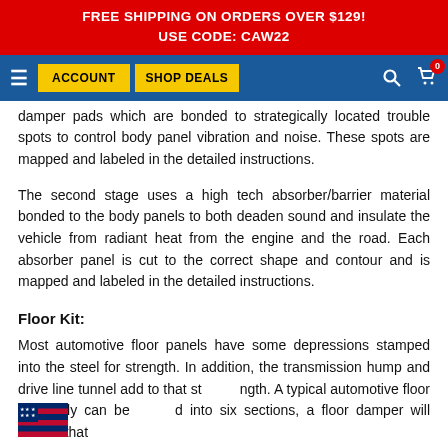FREE SHIPPING ON ORDERS OVER $129!
USE CODE: CAW22
[Figure (screenshot): Navigation bar with hamburger menu, ACCOUNT and SHOP DEALS yellow buttons, search icon, and cart icon with 0 badge on blue background]
damper pads which are bonded to strategically located trouble spots to control body panel vibration and noise. These spots are mapped and labeled in the detailed instructions.
The second stage uses a high tech absorber/barrier material bonded to the body panels to both deaden sound and insulate the vehicle from radiant heat from the engine and the road. Each absorber panel is cut to the correct shape and contour and is mapped and labeled in the detailed instructions.
Floor Kit:
Most automotive floor panels have some depressions stamped into the steel for strength. In addition, the transmission hump and drive line tunnel add to that strength. A typical automotive floor assembly can be divided into six sections, a floor damper will ensure that